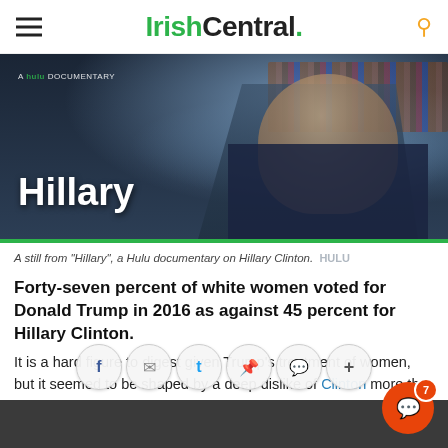IrishCentral.
[Figure (photo): A still from the Hulu documentary 'Hillary' showing Hillary Clinton seated in front of bookshelves, with the title 'Hillary' and 'A Hulu Documentary' text overlaid on the image.]
A still from "Hillary", a Hulu documentary on Hillary Clinton. HULU
Forty-seven percent of white women voted for Donald Trump in 2016 as against 45 percent for Hillary Clinton.
It is a hard figure to digest given Trump's treatment of women, but it seemed to be shaped by a deep dislike of Clinton more th... t... o... u...